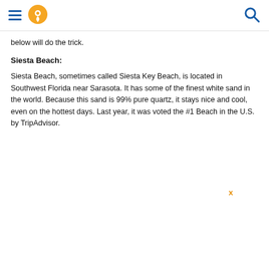[hamburger menu icon] [location pin icon] [search icon]
below will do the trick.
Siesta Beach:
Siesta Beach, sometimes called Siesta Key Beach, is located in Southwest Florida near Sarasota. It has some of the finest white sand in the world. Because this sand is 99% pure quartz, it stays nice and cool, even on the hottest days. Last year, it was voted the #1 Beach in the U.S. by TripAdvisor.